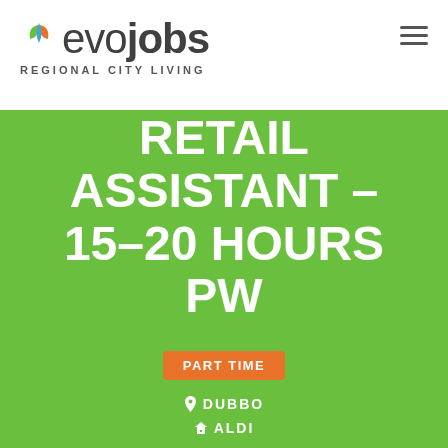[Figure (logo): evojobs Regional City Living logo with leaf/plant icon in orange, green, and blue colors]
RETAIL ASSISTANT - 15-20 HOURS PW
PART TIME
DUBBO
ALDI